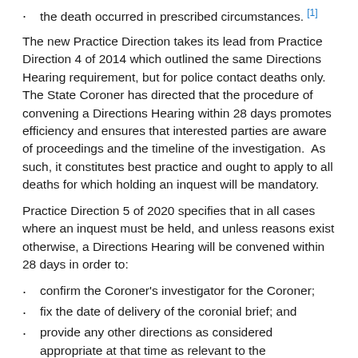the death occurred in prescribed circumstances.
The new Practice Direction takes its lead from Practice Direction 4 of 2014 which outlined the same Directions Hearing requirement, but for police contact deaths only. The State Coroner has directed that the procedure of convening a Directions Hearing within 28 days promotes efficiency and ensures that interested parties are aware of proceedings and the timeline of the investigation.  As such, it constitutes best practice and ought to apply to all deaths for which holding an inquest will be mandatory.
Practice Direction 5 of 2020 specifies that in all cases where an inquest must be held, and unless reasons exist otherwise, a Directions Hearing will be convened within 28 days in order to:
confirm the Coroner's investigator for the Coroner;
fix the date of delivery of the coronial brief; and
provide any other directions as considered appropriate at that time as relevant to the investigation, including regarding potential witnesses and scope of inquest.
Importantly, the 28 day Directions Hearing procedure may still apply to deaths where a Coroner ultimately determines that an